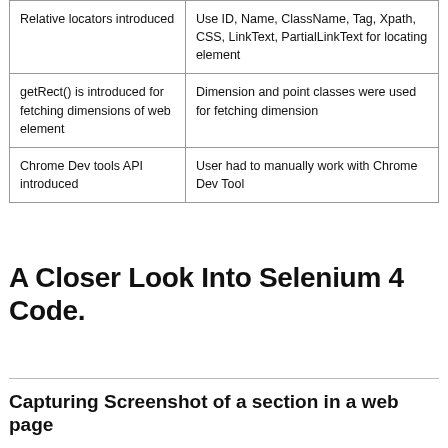| Relative locators introduced | Use ID, Name, ClassName, Tag, Xpath, CSS, LinkText, PartialLinkText for locating element |
| getRect() is introduced for fetching dimensions of web element | Dimension and point classes were used for fetching dimension |
| Chrome Dev tools API introduced | User had to manually work with Chrome Dev Tool |
A Closer Look Into Selenium 4 Code.
Capturing Screenshot of a section in a web page